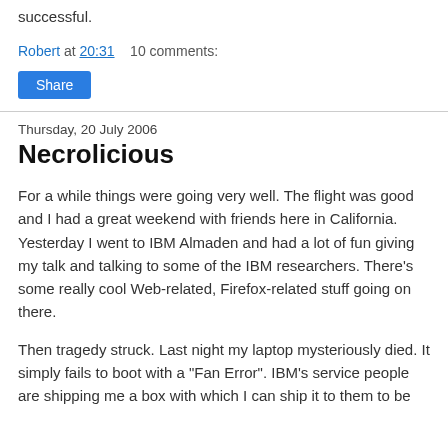successful.
Robert at 20:31    10 comments:
Share
Thursday, 20 July 2006
Necrolicious
For a while things were going very well. The flight was good and I had a great weekend with friends here in California. Yesterday I went to IBM Almaden and had a lot of fun giving my talk and talking to some of the IBM researchers. There's some really cool Web-related, Firefox-related stuff going on there.
Then tragedy struck. Last night my laptop mysteriously died. It simply fails to boot with a "Fan Error". IBM's service people are shipping me a box with which I can ship it to them to be